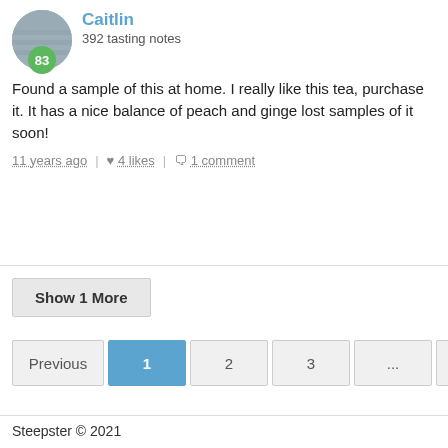Caitlin
392 tasting notes
Found a sample of this at home. I really like this tea, purchase it. It has a nice balance of peach and ginge lost samples of it soon!
11 years ago | 4 likes | 1 comment
Show 1 More
Previous 1 2 3 ... 8 9 Next
Steepster © 2021